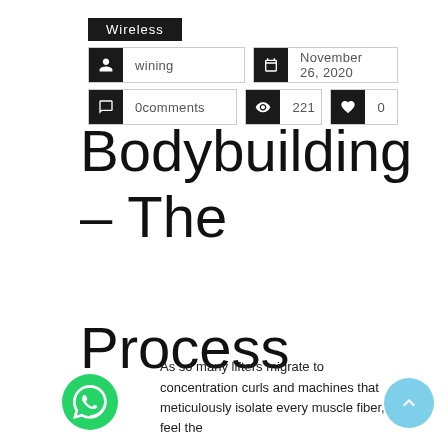Wireless
wining  |  November 26, 2020
0comments  |  221  |  0
Bodybuilding – The Process
As so many lifters migrate to concentration curls and machines that meticulously isolate every muscle fiber, I feel the